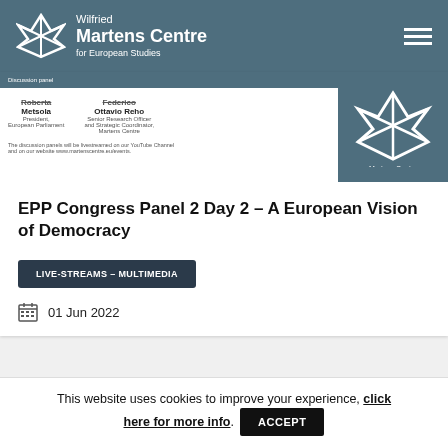Wilfried Martens Centre for European Studies
[Figure (screenshot): Thumbnail of an event poster showing names Roberta Metsola (President, European Parliament) and Ottavio Reho (Senior Research Officer and Strategic Coordinator, Martens Centre) alongside the Martens Centre logo on a teal background.]
EPP Congress Panel 2 Day 2 – A European Vision of Democracy
LIVE-STREAMS - MULTIMEDIA
01 Jun 2022
This website uses cookies to improve your experience, click here for more info. ACCEPT